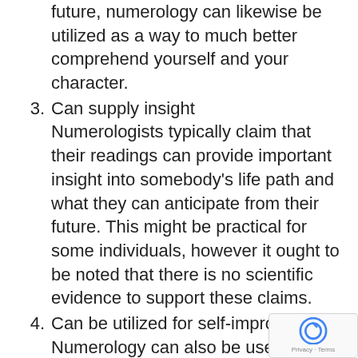future, numerology can likewise be utilized as a way to much better comprehend yourself and your character.
3. Can supply insight Numerologists typically claim that their readings can provide important insight into somebody's life path and what they can anticipate from their future. This might be practical for some individuals, however it ought to be noted that there is no scientific evidence to support these claims.
4. Can be utilized for self-improvement Numerology can also be used for self-improvement. Lots of numerologists offer life coaching services, which can help somebody to make decisions